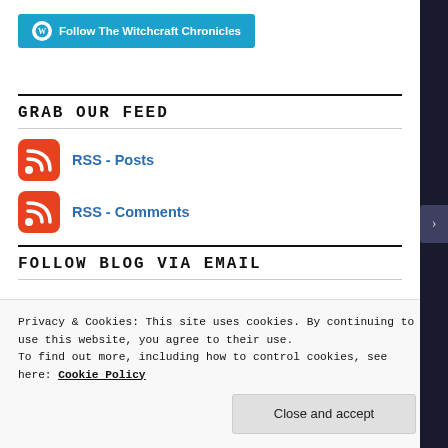[Figure (logo): WordPress Follow The Witchcraft Chronicles button — teal background with WP logo and text]
GRAB OUR FEED
[Figure (logo): RSS feed icon (red rounded square) with link text: RSS - Posts]
[Figure (logo): RSS feed icon (red rounded square) with link text: RSS - Comments]
FOLLOW BLOG VIA EMAIL
Privacy & Cookies: This site uses cookies. By continuing to use this website, you agree to their use.
To find out more, including how to control cookies, see here: Cookie Policy
Close and accept